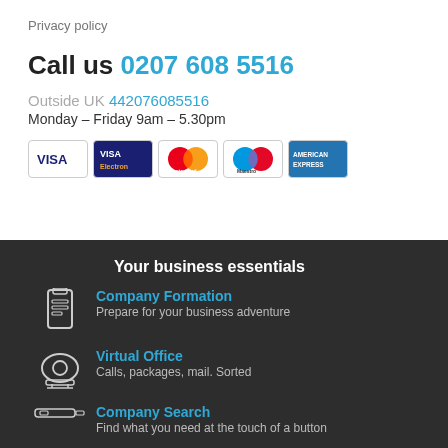Privacy policy
Call us 0207 608 5516
Outside UK 442076085516
Monday – Friday 9am – 5.30pm
[Figure (other): Payment card logos: VISA, VISA Electron, MasterCard, Maestro, American Express]
Your business essentials
Company Formation – Prepare for your business adventure
Virtual Office – Calls, packages, mail. Sorted
Company Search – Find what you need at the touch of a button